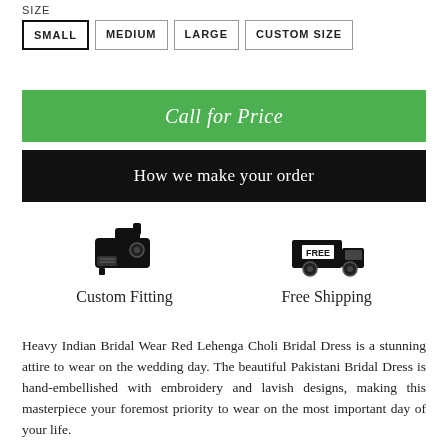SIZE
SMALL
MEDIUM
LARGE
CUSTOM SIZE
Call for Price
How we make your order
[Figure (illustration): Black sewing machine icon representing Custom Fitting]
Custom Fitting
[Figure (illustration): Black delivery truck icon with FREE label representing Free Shipping]
Free Shipping
Heavy Indian Bridal Wear Red Lehenga Choli Bridal Dress is a stunning attire to wear on the wedding day. The beautiful Pakistani Bridal Dress is hand-embellished with embroidery and lavish designs, making this masterpiece your foremost priority to wear on the most important day of your life.